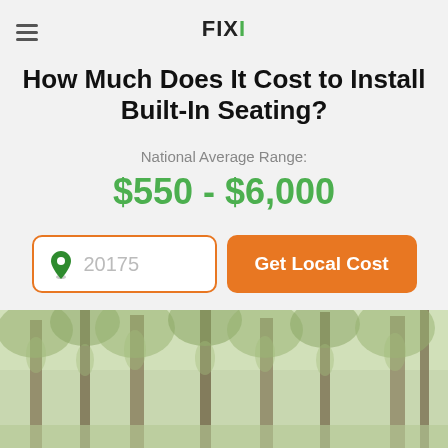FIXI
How Much Does It Cost to Install Built-In Seating?
National Average Range:
$550 - $6,000
20175
Get Local Cost
[Figure (photo): Forest background photo with tall trees covered in moss, light green foliage]